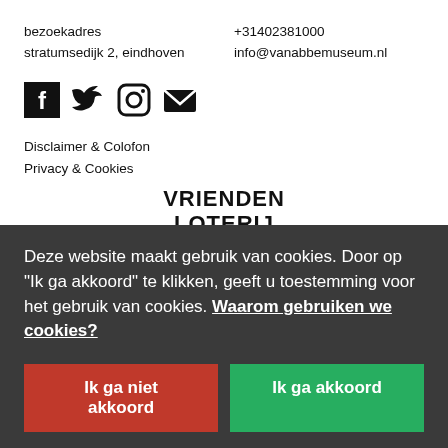bezoekadres
stratumsedijk 2, eindhoven
+31402381000
info@vanabbemuseum.nl
[Figure (illustration): Social media icons: Facebook, Twitter, Instagram, Email]
Disclaimer & Colofon
Privacy & Cookies
[Figure (logo): VRIENDEN LOTERIJ logo in bold black text]
[Figure (logo): Wave symbol followed by EINDHOVEN text logo]
[Figure (logo): DOMMO/AMMO stylized letter arrangement logo]
Deze website maakt gebruik van cookies. Door op "Ik ga akkoord" te klikken, geeft u toestemming voor het gebruik van cookies. Waarom gebruiken we cookies?
[Figure (logo): Partial M logo visible behind cookie banner]
Ik ga niet akkoord
Ik ga akkoord